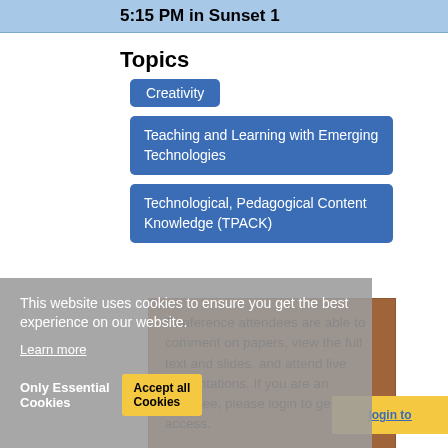5:15 PM in Sunset 1
Topics
Creativity
Teaching and Learning with Emerging Technologies
Technological, Pedagogical Content Knowledge (TPACK)
This website uses cookies to ensure you get the best experience on our website.
Learn more
Only Essential Cookies
Accept all Cookies
Conference attendees are able to comment on papers, view the full text and slides, and attend live presentations. If you are an attendee, please login to get full access.